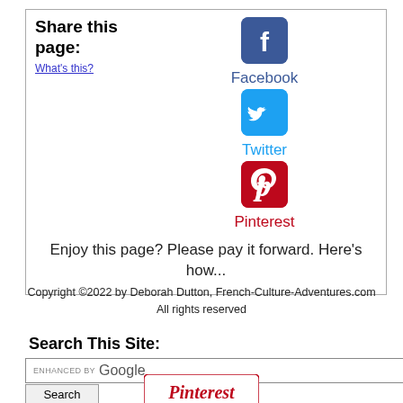Share this page:
What's this?
[Figure (logo): Facebook icon - white F on dark blue rounded square]
Facebook
[Figure (logo): Twitter icon - white bird on cyan/light blue rounded square]
Twitter
[Figure (logo): Pinterest icon - white P on red rounded square]
Pinterest
Enjoy this page? Please pay it forward. Here's how...
Copyright ©2022 by Deborah Dutton, French-Culture-Adventures.com
All rights reserved
Search This Site:
ENHANCED BY Google
Search
[Figure (logo): Pinterest logo text at bottom of page]